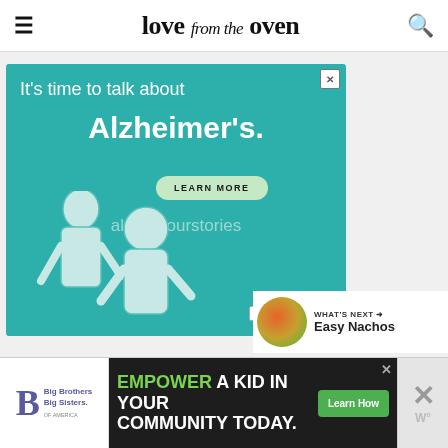love from the oven
[Figure (illustration): Alzheimer's Association advertisement on teal background. Text: It's time to talk about Alzheimer's. LEARN MORE. alz.org/ourstories. Ad badge and Alzheimer's Association logo. Illustration of two elderly figures.]
[Figure (infographic): What's Next section with food thumbnail and text: Easy Nachos]
[Figure (illustration): Big Brothers Big Sisters of America logo and ad: EMPOWER A KID IN YOUR COMMUNITY TODAY. Learn How button. Close button on right.]